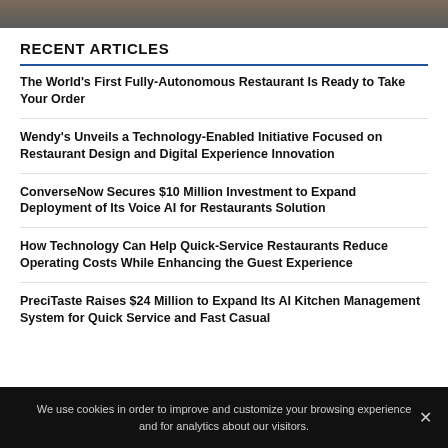[Figure (photo): Partial image strip at top of page, dark gray/brown tones]
RECENT ARTICLES
The World's First Fully-Autonomous Restaurant Is Ready to Take Your Order
Wendy's Unveils a Technology-Enabled Initiative Focused on Restaurant Design and Digital Experience Innovation
ConverseNow Secures $10 Million Investment to Expand Deployment of Its Voice AI for Restaurants Solution
How Technology Can Help Quick-Service Restaurants Reduce Operating Costs While Enhancing the Guest Experience
PreciTaste Raises $24 Million to Expand Its AI Kitchen Management System for Quick Service and Fast Casual
We use cookies in order to improve and customize your browsing experience and for analytics about our visitors.